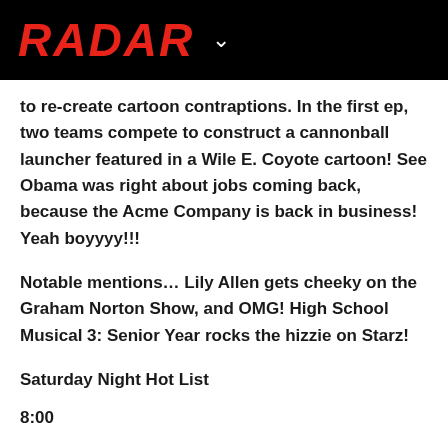RADAR
to re-create cartoon contraptions. In the first ep, two teams compete to construct a cannonball launcher featured in a Wile E. Coyote cartoon! See Obama was right about jobs coming back, because the Acme Company is back in business! Yeah boyyyy!!!
Notable mentions… Lily Allen gets cheeky on the Graham Norton Show, and OMG! High School Musical 3: Senior Year rocks the hizzie on Starz!
Saturday Night Hot List
8:00